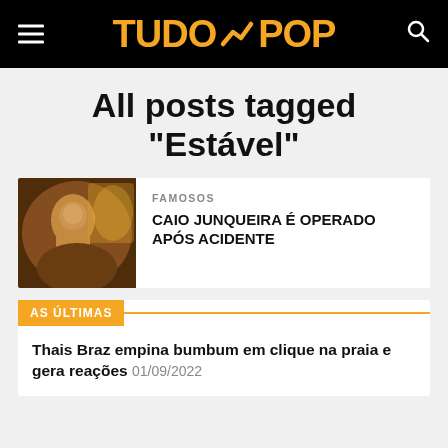TUDO POP
All posts tagged "Estável"
[Figure (photo): Photo of a man (Caio Junqueira) with warm background lighting]
FAMOSOS
CAIO JUNQUEIRA É OPERADO APÓS ACIDENTE
AS ÚLTIMAS
Thais Braz empina bumbum em clique na praia e gera reações 01/09/2022